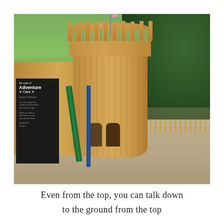[Figure (photo): Outdoor photo of a wooden adventure play area with a cylindrical castle tower with battlements and a flag on top, wooden walls and fencing, a dark sign reading 'the code of Adventure Cave', green and blue rails/poles, picnic tables in the background, and dense green trees behind. Paved ground visible in foreground.]
Even from the top, you can talk down to the ground from the top